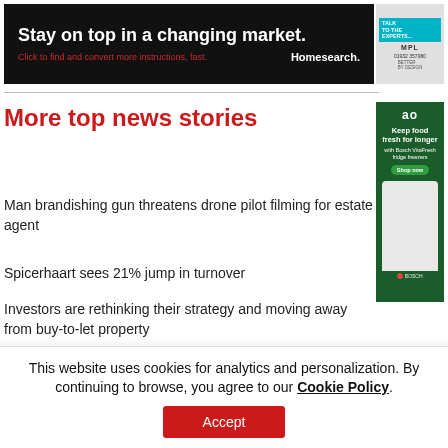[Figure (other): Homesearch advertisement banner: 'Stay on top in a changing market. Click to find and convert more instructions, fast. Homesearch.']
[Figure (other): MPL advertisement: 'Talk to the Experts... 01932 357980 Better By Design']
More top news stories
Man brandishing gun threatens drone pilot filming for estate agent
Spicerhaart sees 21% jump in turnover
Investors are rethinking their strategy and moving away from buy-to-let property
[Figure (other): AO / Bosch advertisement: 'Keep food fresh for longer with Bosch VitaFresh fridge freezers. Shop now.']
Comments are closed
This website uses cookies for analytics and personalization. By continuing to browse, you agree to our Cookie Policy. Accept